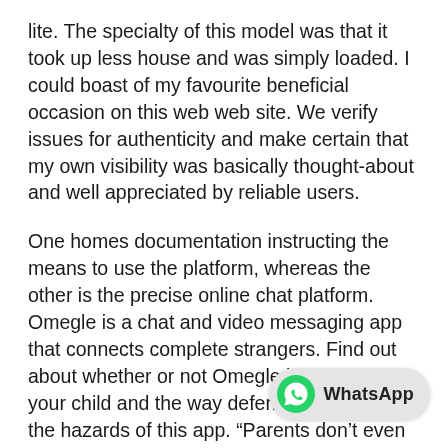lite. The specialty of this model was that it took up less house and was simply loaded. I could boast of my favourite beneficial occasion on this web web site. We verify issues for authenticity and make certain that my own visibility was basically thought-about and well appreciated by reliable users.
One homes documentation instructing the means to use the platform, whereas the other is the precise online chat platform. Omegle is a chat and video messaging app that connects complete strangers. Find out about whether or not Omegle is protected for your child and the way defend your kids from the hazards of this app. “Parents don’t even know that is taking place,” says Jordan, referring to the inappropriate content on Omegle. “If dad and mom knew was so accessible, it would not be this way for long. They would press these websites to have more accountability.” Omegle clearly states that predators have be… to use the site. Because of its anonymity, a young person…
[Figure (logo): WhatsApp badge with green WhatsApp logo icon and text 'WhatsApp' on a light grey pill-shaped background]